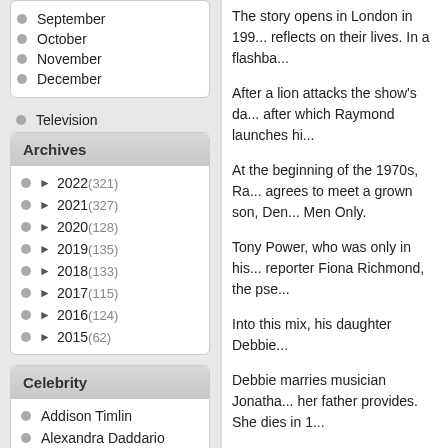September
October
November
December
Television
Archives
► 2022 (321)
► 2021 (327)
► 2020 (128)
► 2019 (135)
► 2018 (133)
► 2017 (115)
► 2016 (124)
► 2015 (62)
Celebrity
Addison Timlin
Alexandra Daddario
The story opens in London in 199... reflects on their lives. In a flashba...
After a lion attacks the show's da... after which Raymond launches hi...
At the beginning of the 1970s, Ra... agrees to meet a grown son, Den... Men Only.
Tony Power, who was only in his... reporter Fiona Richmond, the pse...
Into this mix, his daughter Debbie...
Debbie marries musician Jonatha... her father provides. She dies in 1...
An epilogue reveals that in Decer...